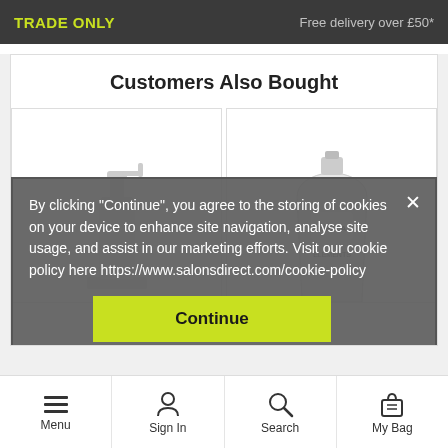TRADE ONLY   Free delivery over £50*
Customers Also Bought
[Figure (photo): Two product images: a white pump dispenser bottle on a shelf on the left, and a Wella Elements white pouch product on the right]
By clicking "Continue", you agree to the storing of cookies on your device to enhance site navigation, analyse site usage, and assist in our marketing efforts. Visit our cookie policy here https://www.salonsdirect.com/cookie-policy
Continue
Menu   Sign In   Search   My Bag